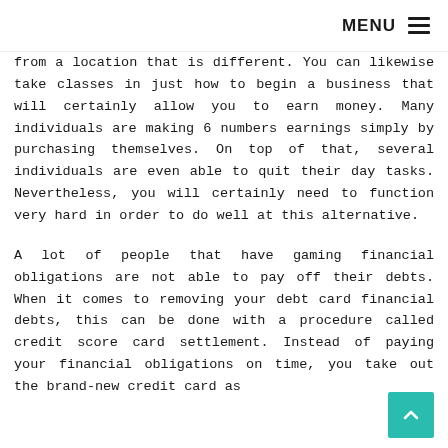MENU
from a location that is different. You can likewise take classes in just how to begin a business that will certainly allow you to earn money. Many individuals are making 6 numbers earnings simply by purchasing themselves. On top of that, several individuals are even able to quit their day tasks. Nevertheless, you will certainly need to function very hard in order to do well at this alternative.
A lot of people that have gaming financial obligations are not able to pay off their debts. When it comes to removing your debt card financial debts, this can be done with a procedure called credit score card settlement. Instead of paying your financial obligations on time, you take out the brand-new credit card as